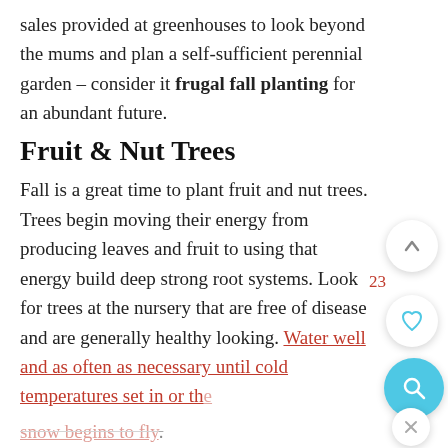sales provided at greenhouses to look beyond the mums and plan a self-sufficient perennial garden – consider it frugal fall planting for an abundant future.
Fruit & Nut Trees
Fall is a great time to plant fruit and nut trees. Trees begin moving their energy from producing leaves and fruit to using that energy build deep strong root systems. Look for trees at the nursery that are free of disease and are generally healthy looking. Water well and as often as necessary until cold temperatures set in or the snow begins to fly.
In the spring, your trees should bud and produce